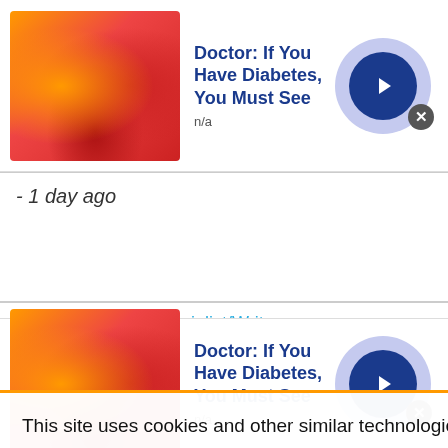[Figure (screenshot): Top advertisement banner: candy/gummy image on left, bold blue title 'Doctor: If You Have Diabetes, You Must See', subtitle 'n/a', arrow button on right, close X button]
- 1 day ago
Public Relations Specialist/Writer
Burnett Specialists - Houston , TX

Public Relations Specialist/Writer- Houston . An architecture firm located in the inner loop of Houston is seeking a Public Relations Specialist/Writer to add to their team. Candidates must have a Bachelor's degree in Public Relations,
This site uses cookies and other similar technologies to provide site functionality, analyze traffic and usage, and
[Figure (screenshot): Bottom advertisement banner: candy/gummy image on left, bold blue title 'Doctor: If You Have Diabetes, You Must See', subtitle 'n/a', arrow button on right, close X button]